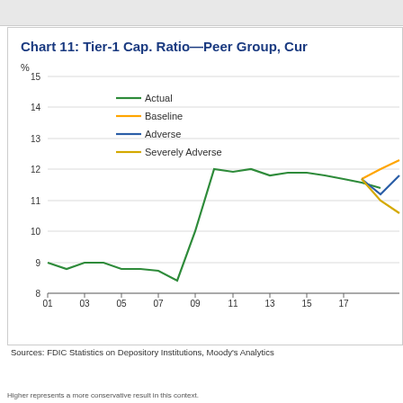[Figure (line-chart): Chart 11: Tier-1 Cap. Ratio—Peer Group, Current]
Sources: FDIC Statistics on Depository Institutions, Moody's Analytics